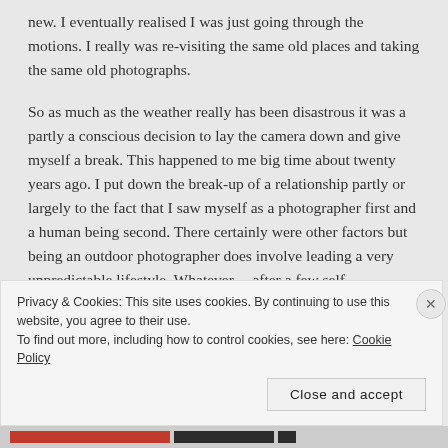new. I eventually realised I was just going through the motions. I really was re-visiting the same old places and taking the same old photographs.

So as much as the weather really has been disastrous it was a partly a conscious decision to lay the camera down and give myself a break. This happened to me big time about twenty years ago. I put down the break-up of a relationship partly or largely to the fact that I saw myself as a photographer first and a human being second. There certainly were other factors but being an outdoor photographer does involve leading a very unpredictable lifestyle. Whatever.....after a few self-
Privacy & Cookies: This site uses cookies. By continuing to use this website, you agree to their use.
To find out more, including how to control cookies, see here: Cookie Policy

Close and accept